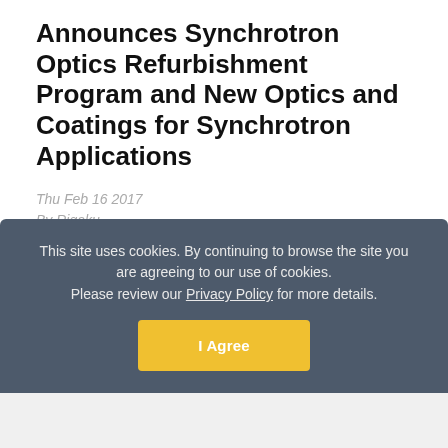Announces Synchrotron Optics Refurbishment Program and New Optics and Coatings for Synchrotron Applications
Thu Feb 16 2017
By Rigaku
Proprietary, cost-effective process restores performance, while new optics deliver high reflectivity and precision Rigaku Innovative Technologies (RIT), a global supplier of high
This site uses cookies. By continuing to browse the site you are agreeing to our use of cookies.
Please review our Privacy Policy for more details.
I Agree